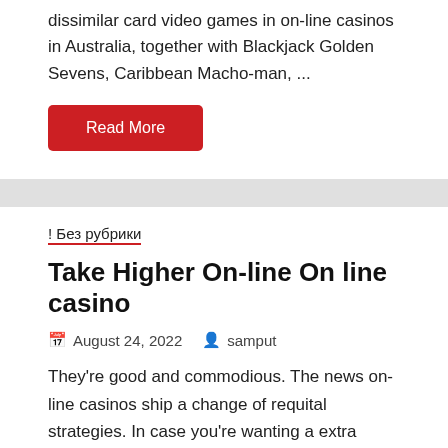dissimilar card video games in on-line casinos in Australia, together with Blackjack Golden Sevens, Caribbean Macho-man, ...
Read More
! Без рубрики
Take Higher On-line On line casino
August 24, 2022   samput
They're good and commodious. The news on-line casinos ship a change of requital strategies. In case you're wanting a extra private really feel, strive performing at an Australian on line casino within the U.S.|When wanting the trump subsist on line ...